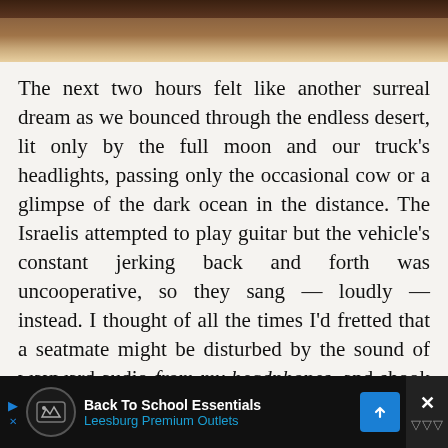[Figure (photo): Top strip showing a brown wooden surface or desert ground, fading from dark at top to lighter tan at bottom]
The next two hours felt like another surreal dream as we bounced through the endless desert, lit only by the full moon and our truck’s headlights, passing only the occasional cow or a glimpse of the dark ocean in the distance. The Israelis attempted to play guitar but the vehicle’s constant jerking back and forth was uncooperative, so they sang — loudly — instead. I thought of all the times I’d fretted that a seatmate might be disturbed by the sound of wayward audio from my headphones, and shook my head with a smile while secretly admiring their
[Figure (screenshot): Advertisement bar at bottom: black background, Back To School Essentials Leesburg Premium Outlets ad with circular logo, blue text, and blue diamond arrow icon. Close button with X on right side.]